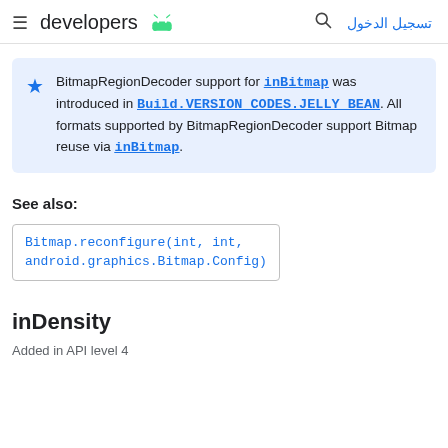developers [android icon] | [search] تسجيل الدخول
BitmapRegionDecoder support for inBitmap was introduced in Build.VERSION_CODES.JELLY_BEAN. All formats supported by BitmapRegionDecoder support Bitmap reuse via inBitmap.
See also:
Bitmap.reconfigure(int, int, android.graphics.Bitmap.Config)
inDensity
Added in API level 4